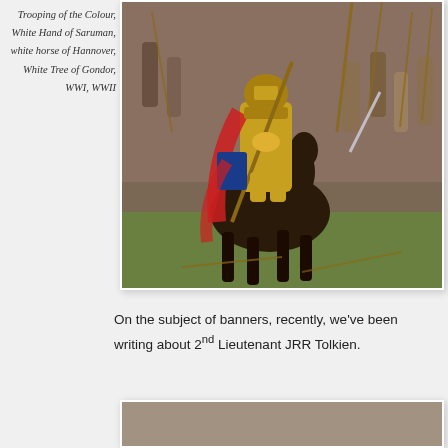Trooping of the Colour, White Hand of Saruman, white horse of Hannover, White Tree of Gondor, WWI, WWII
[Figure (illustration): Oil painting depicting a medieval or fantastical cavalry battle scene, with a central armored knight on horseback in gold and red regalia, surrounded by soldiers with weapons and banners.]
On the subject of banners, recently, we've been writing about 2nd Lieutenant JRR Tolkien.
[Figure (photo): Partial image at the bottom of the page, cropped, appears to be another illustration or photograph.]